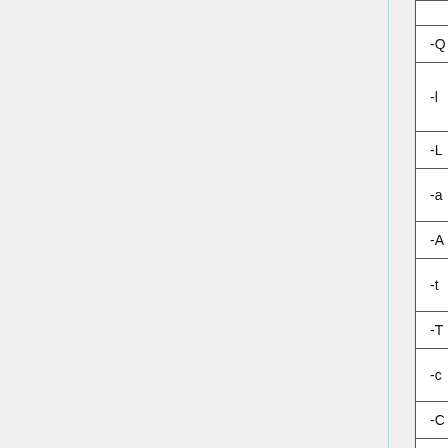| Short flag | Long flag | Description |
| --- | --- | --- |
| -Q | --noquestion_update | se... |
| -l | --show_flags | Fo...
se...
de... |
| -L | --hide_flags | co... |
| -a | --show_start | Fo...
th... |
| -A | --hide_start | co... |
| -t | --show_stop | Fo...
th... |
| -T | --hide_stop | co... |
| -c | --show_channel | Fo...
th... |
| -C | --hide_channel | co... |
| -s | --show_channel_name | if s...
of... |
| -S | --hide_channel_name | if s... |